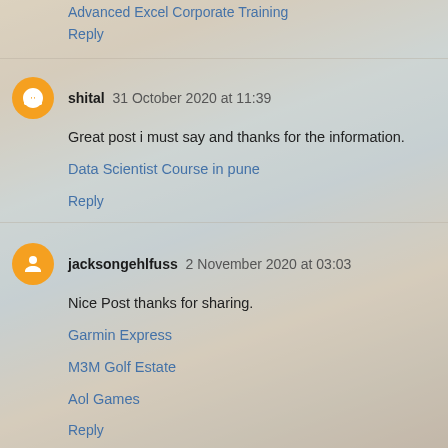Advanced Excel Corporate Training
Reply
shital 31 October 2020 at 11:39
Great post i must say and thanks for the information.
Data Scientist Course in pune
Reply
jacksongehlfuss 2 November 2020 at 03:03
Nice Post thanks for sharing.
Garmin Express
M3M Golf Estate
Aol Games
Reply